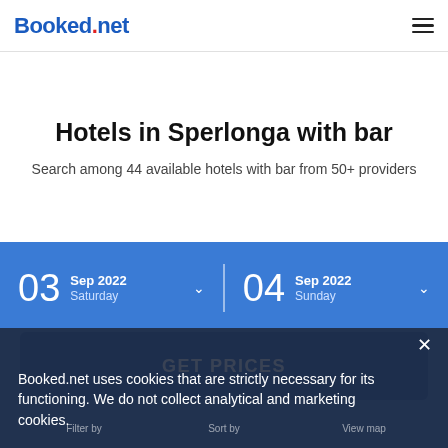Booked.net
Hotels in Sperlonga with bar
Search among 44 available hotels with bar from 50+ providers
03 Sep 2022 Saturday  |  04 Sep 2022 Sunday
GET PRICES
Booked.net uses cookies that are strictly necessary for its functioning. We do not collect analytical and marketing cookies.